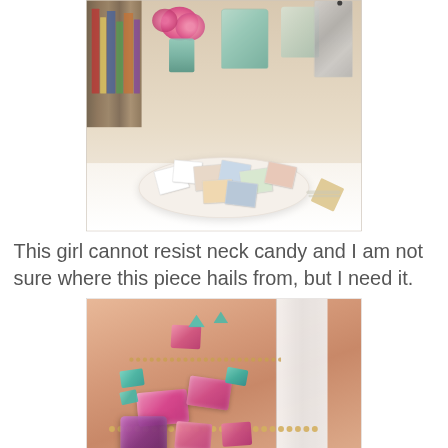[Figure (photo): A white bowl filled with polaroid photographs sitting on a desk, with books on a shelf in the background, pink roses in a teal mason jar, a French press coffee maker, and a starfish on the right side.]
This girl cannot resist neck candy and I am not sure where this piece hails from, but I need it.
[Figure (photo): A close-up photo of a woman's neckline and décolletage wearing a large ornate statement necklace featuring pink and purple gemstones, turquoise beads, and gold chain detailing, against a white top.]